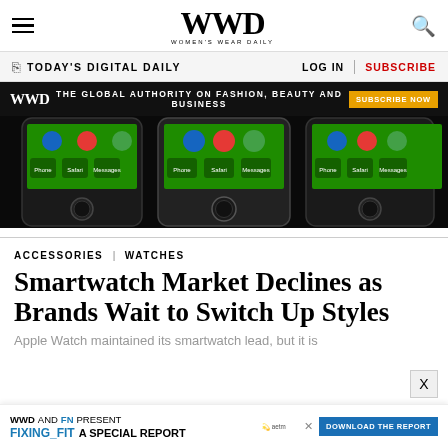WWD — Women's Wear Daily
TODAY'S DIGITAL DAILY   LOG IN   SUBSCRIBE
WWD — THE GLOBAL AUTHORITY ON FASHION, BEAUTY AND BUSINESS — SUBSCRIBE NOW
[Figure (photo): Three iPhones side by side showing home screens with green app icons on black background]
ACCESSORIES | WATCHES
Smartwatch Market Declines as Brands Wait to Switch Up Styles
Apple Watch maintained its smartwatch lead, but it is
WWD AND FN PRESENT FIXING_FIT A SPECIAL REPORT DOWNLOAD THE REPORT